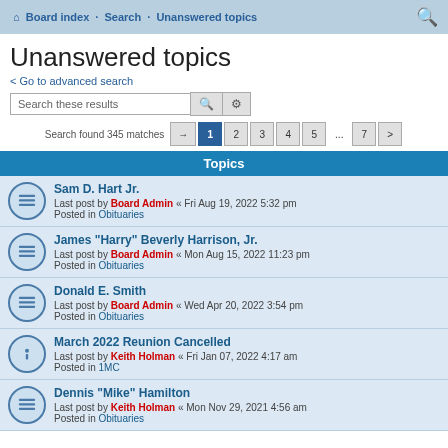Board index · Search · Unanswered topics
Unanswered topics
< Go to advanced search
Search these results
Search found 345 matches  Page 1 of 7  1 2 3 4 5 ... 7 >
Topics
Sam D. Hart Jr.
Last post by Board Admin « Fri Aug 19, 2022 5:32 pm
Posted in Obituaries
James "Harry" Beverly Harrison, Jr.
Last post by Board Admin « Mon Aug 15, 2022 11:23 pm
Posted in Obituaries
Donald E. Smith
Last post by Board Admin « Wed Apr 20, 2022 3:54 pm
Posted in Obituaries
March 2022 Reunion Cancelled
Last post by Keith Holman « Fri Jan 07, 2022 4:17 am
Posted in 1MC
Dennis "Mike" Hamilton
Last post by Keith Holman « Mon Nov 29, 2021 4:56 am
Posted in Obituaries